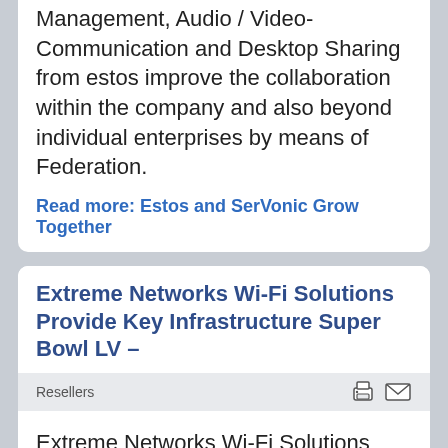Management, Audio / Video-Communication and Desktop Sharing from estos improve the collaboration within the company and also beyond individual enterprises by means of Federation.
Read more: Estos and SerVonic Grow Together
Extreme Networks Wi-Fi Solutions Provide Key Infrastructure Super Bowl LV –
Resellers
Extreme Networks Wi-Fi Solutions Provide Key Infrastructure Super Bowl LV –